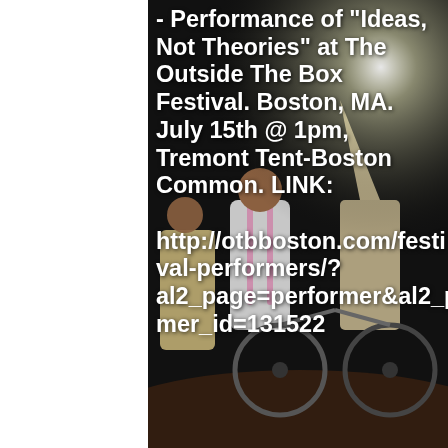[Figure (photo): Background photo of performers on stage with bicycles, a bright light source in the upper right, one person in a white shirt with suspenders and another in a cone hat and tan outfit.]
- Performance of "Ideas, Not Theories" at The Outside The Box Festival. Boston, MA. July 15th @ 1pm, Tremont Tent-Boston Common. LINK: http://otbboston.com/festival-performers/?al2_page=performer&al2_parentHost=http%3A%2F%2Fotbboston.com&al2_filterCategory=1&al2_performer_id=131522